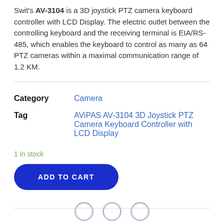Swit's AV-3104 is a 3D joystick PTZ camera keyboard controller with LCD Display. The electric outlet between the controlling keyboard and the receiving terminal is EIA/RS-485, which enables the keyboard to control as many as 64 PTZ cameras within a maximal communication range of 1.2 KM.
| Category | Camera |
| --- | --- |
| Tag | AViPAS AV-3104 3D Joystick PTZ Camera Keyboard Controller with LCD Display |
1 in stock
ADD TO CART
[Figure (other): Three circular social media icon buttons at the bottom of the page]